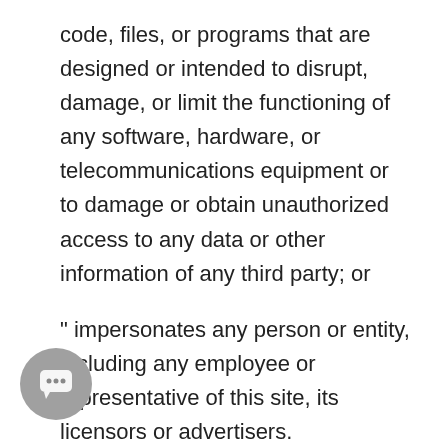code, files, or programs that are designed or intended to disrupt, damage, or limit the functioning of any software, hardware, or telecommunications equipment or to damage or obtain unauthorized access to any data or other information of any third party; or
" impersonates any person or entity, including any employee or representative of this site, its licensors or advertisers.
You also agree that you shall not harvest or collect information about the users of this site or use such information for the purpose of transmitting or facilitating transmission of unsolicited bulk electronic e-mail or communications for any other
[Figure (illustration): Chat bubble icon — circular grey button with three dots indicating a chat/messaging widget]